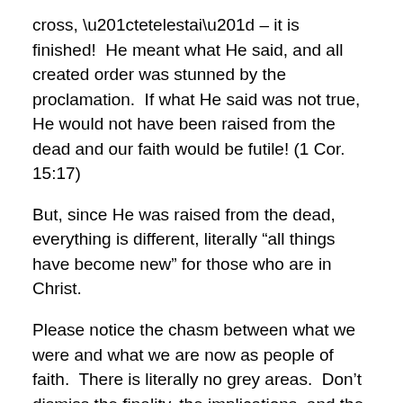cross, “tetelestai” – it is finished!  He meant what He said, and all created order was stunned by the proclamation.  If what He said was not true, He would not have been raised from the dead and our faith would be futile! (1 Cor. 15:17)
But, since He was raised from the dead, everything is different, literally “all things have become new” for those who are in Christ.
Please notice the chasm between what we were and what we are now as people of faith.  There is literally no grey areas.  Don’t dismiss the finality, the implications, and the metamorphosis of the New Creation in Christ:
1.	 Either my sins are pardoned and fully dealt with or I am guilty and condemned. (Colossians 2:13-14)
2.	 Either I am now the righteousness of God in